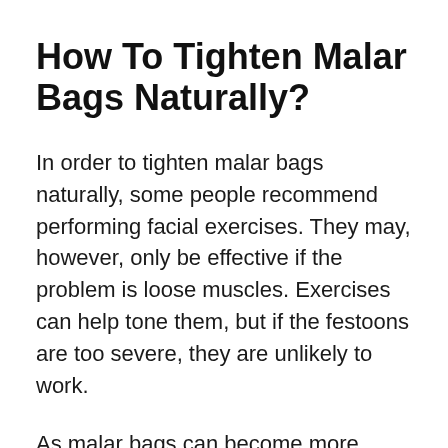How To Tighten Malar Bags Naturally?
In order to tighten malar bags naturally, some people recommend performing facial exercises. They may, however, only be effective if the problem is loose muscles. Exercises can help tone them, but if the festoons are too severe, they are unlikely to work.
As malar bags can become more apparent due to certain lifestyles and dietary habits, some people also use cold compresses to reduce swelling. However, they can only